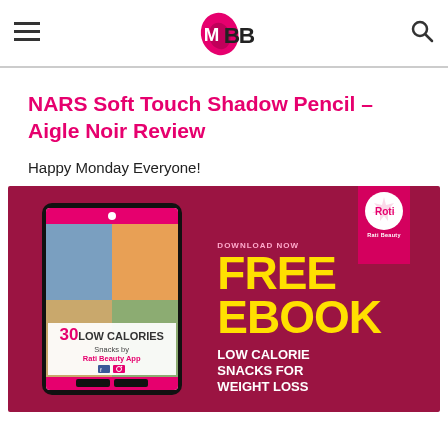IMBB
NARS Soft Touch Shadow Pencil – Aigle Noir Review
Happy Monday Everyone!
[Figure (photo): Advertisement banner for a free ebook: '30 Low Calories Snacks by Rati Beauty App' shown on a tablet mockup on a dark pink/crimson background. Right side shows yellow text 'FREE EBOOK' with white text 'LOW CALORIE SNACKS FOR WEIGHT LOSS'. A pink ribbon badge with Rati Beauty logo appears top right.]